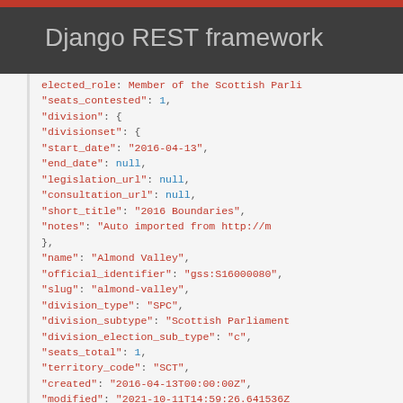Django REST framework
JSON code block showing API response for election division data including seats_contested, division object with divisionset (start_date, end_date, legislation_url, consultation_url, short_title, notes), name: Almond Valley, official_identifier: gss:S16000080, slug: almond-valley, division_type: SPC, division_subtype: Scottish Parliament, division_election_sub_type: c, seats_total: 1, territory_code: SCT, created: 2016-04-13T00:00:00Z, modified: 2021-10-11T14:59:26.641536Z, voting_system